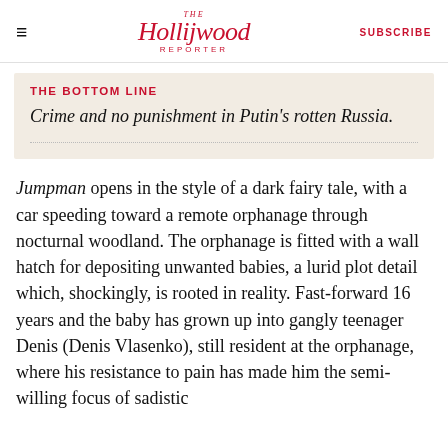THE Hollywood REPORTER | SUBSCRIBE
THE BOTTOM LINE
Crime and no punishment in Putin's rotten Russia.
Jumpman opens in the style of a dark fairy tale, with a car speeding toward a remote orphanage through nocturnal woodland. The orphanage is fitted with a wall hatch for depositing unwanted babies, a lurid plot detail which, shockingly, is rooted in reality. Fast-forward 16 years and the baby has grown up into gangly teenager Denis (Denis Vlasenko), still resident at the orphanage, where his resistance to pain has made him the semi-willing focus of sadistic